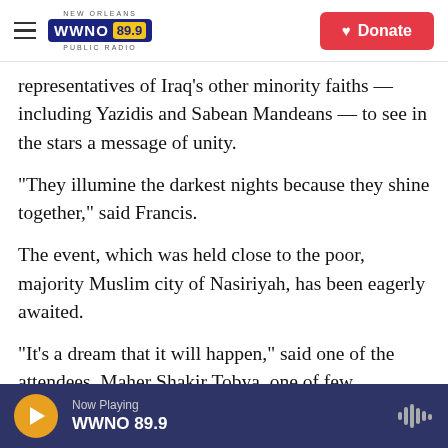WWNO 89.9 NEW ORLEANS PUBLIC RADIO — Donate
representatives of Iraq's other minority faiths — including Yazidis and Sabean Mandeans — to see in the stars a message of unity.
"They illumine the darkest nights because they shine together," said Francis.
The event, which was held close to the poor, majority Muslim city of Nasiriyah, has been eagerly awaited.
"It's a dream that it will happen," said one of the attendees, Maher Shakir Tobya, one of few
Now Playing WWNO 89.9